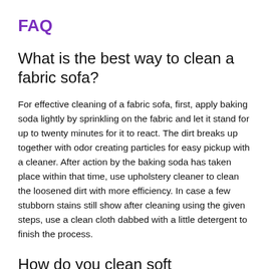FAQ
What is the best way to clean a fabric sofa?
For effective cleaning of a fabric sofa, first, apply baking soda lightly by sprinkling on the fabric and let it stand for up to twenty minutes for it to react. The dirt breaks up together with odor creating particles for easy pickup with a cleaner. After action by the baking soda has taken place within that time, use upholstery cleaner to clean the loosened dirt with more efficiency. In case a few stubborn stains still show after cleaning using the given steps, use a clean cloth dabbed with a little detergent to finish the process.
How do you clean soft furnishings?